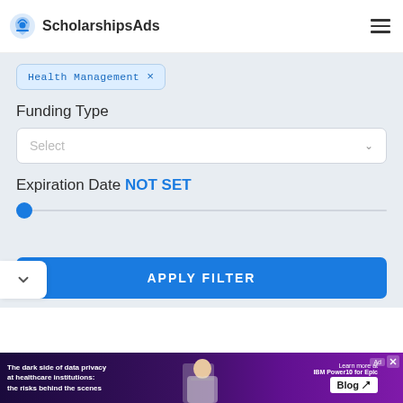ScholarshipsAds
Health Management ×
Funding Type
Select
Expiration Date NOT SET
APPLY FILTER
[Figure (screenshot): Advertisement banner: 'The dark side of data privacy at healthcare institutions: the risks behind the scenes' with IBM Power10 for Epic Blog promotion]